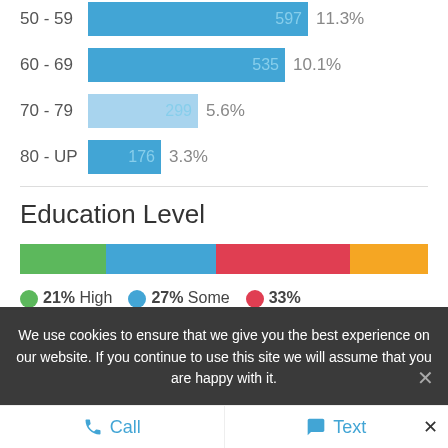[Figure (bar-chart): Age Distribution (partial)]
Education Level
[Figure (stacked-bar-chart): Education Level]
We use cookies to ensure that we give you the best experience on our website. If you continue to use this site we will assume that you are happy with it.